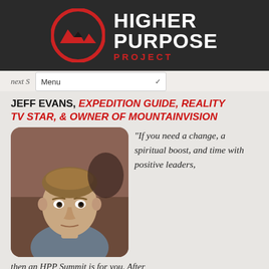[Figure (logo): Higher Purpose Project logo: circular emblem with mountain/wave symbol in red and dark, next to text HIGHER PURPOSE PROJECT in white and red on dark background]
next S
Menu
JEFF EVANS, EXPEDITION GUIDE, REALITY TV STAR, & OWNER OF MOUNTAINVISION
[Figure (photo): Headshot of Jeff Evans, a man with short blond/brown hair wearing a grey shirt, looking directly at camera with a serious expression]
“If you need a change, a spiritual boost, and time with positive leaders,
then an HPP Summit is for you. After